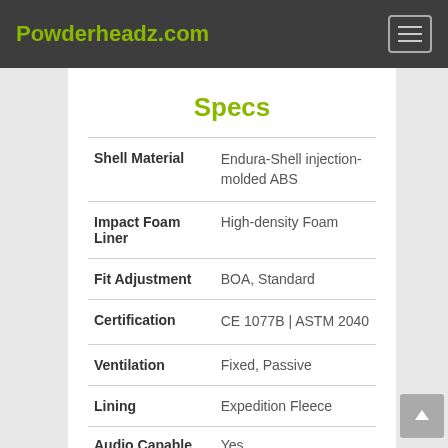Powderheadz.com
Specs
| Spec | Value |
| --- | --- |
| Shell Material | Endura-Shell injection-molded ABS |
| Impact Foam Liner | High-density Foam |
| Fit Adjustment | BOA, Standard |
| Certification | CE 1077B | ASTM 2040 |
| Ventilation | Fixed, Passive |
| Lining | Expedition Fleece |
| Audio Capable | Yes |